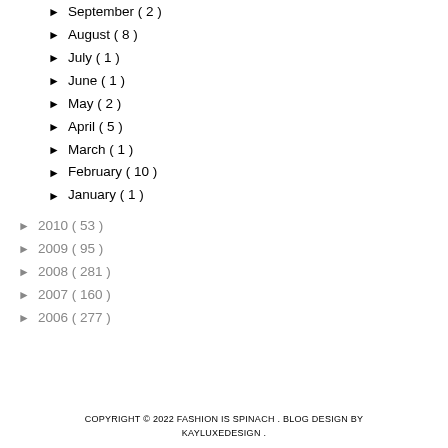► September ( 2 )
► August ( 8 )
► July ( 1 )
► June ( 1 )
► May ( 2 )
► April ( 5 )
► March ( 1 )
► February ( 10 )
► January ( 1 )
► 2010 ( 53 )
► 2009 ( 95 )
► 2008 ( 281 )
► 2007 ( 160 )
► 2006 ( 277 )
COPYRIGHT © 2022 FASHION IS SPINACH . BLOG DESIGN BY KAYLUXEDESIGN .